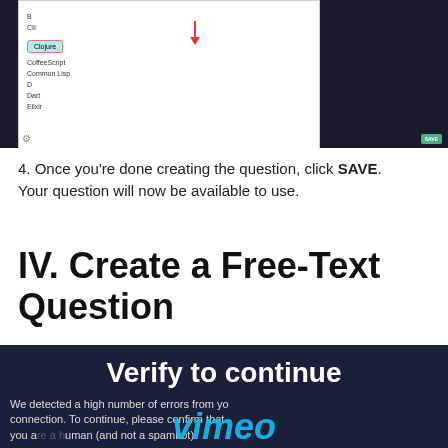[Figure (screenshot): Screenshot of a UI dropdown/list showing programming language options (CoffeeScript, Common Lisp, D, Dart, Elixir) with a teal highlighted 'Clojure' row and a red downward arrow, on a dark background with a SAVE button in the corner.]
4. Once you're done creating the question, click SAVE. Your question will now be available to use.
IV. Create a Free-Text Question
[Figure (screenshot): Vimeo 'Verify to continue' overlay on a dark navy background. Text reads: 'We detected a high number of errors from your connection. To continue, please confirm that you are a human (and not a spambot).' The Vimeo logo watermark appears in italic script at the bottom.]